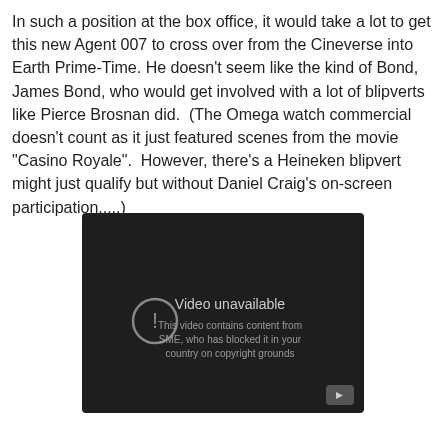In such a position at the box office, it would take a lot to get this new Agent 007 to cross over from the Cineverse into Earth Prime-Time. He doesn't seem like the kind of Bond, James Bond, who would get involved with a lot of blipverts like Pierce Brosnan did.  (The Omega watch commercial doesn't count as it just featured scenes from the movie "Casino Royale".  However, there's a Heineken blipvert might just qualify but without Daniel Craig's on-screen participation.....)
[Figure (screenshot): Embedded video player showing 'Video unavailable' message. Text reads: 'This video contains content from SME, who has blocked it in your country on copyright grounds'. Dark background with a play button icon in the bottom right corner and a circular exclamation mark icon on the left.]